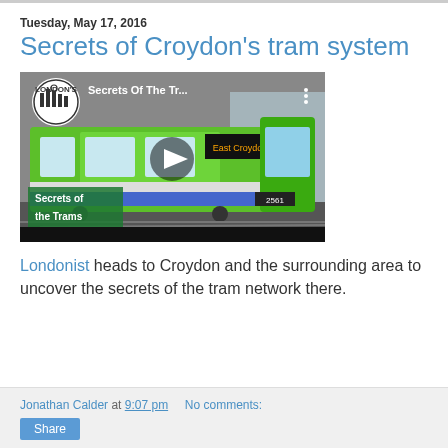Tuesday, May 17, 2016
Secrets of Croydon's tram system
[Figure (screenshot): Embedded YouTube video thumbnail showing a green tram with title 'Secrets Of The Tr...' and play button overlay, with 'Secrets of the Trams' text overlay in lower left corner. London's logo in top left of video.]
Londonist heads to Croydon and the surrounding area to uncover the secrets of the tram network there.
Jonathan Calder at 9:07 pm   No comments:   Share